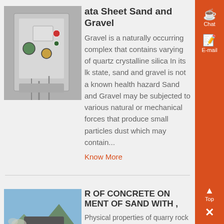[Figure (photo): Photo of an industrial electrical control box/panel with wires and buttons mounted on a wall]
ata Sheet Sand and Gravel
Gravel is a naturally occurring complex that contains varying of quartz crystalline silica In its lk state, sand and gravel is not a known health hazard Sand and Gravel may be subjected to various natural or mechanical forces that produce small particles dust which may contain...
Know More
[Figure (photo): Photo of a large industrial quarry crusher/screening machine in an open field with blue sky background]
R OF CONCRETE ON MENT OF SAND WITH ,
Physical properties of quarry rock atural sand Fine aggregate er sand River sand having of m3 odulus of 2015 was used The